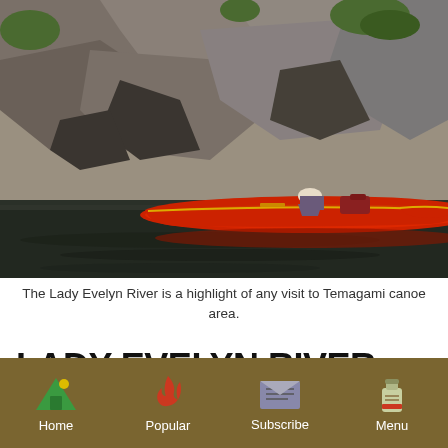[Figure (photo): A red canoe on a dark river with a person crouching in it, surrounded by large rocky cliffs and some greenery. The canoe and rocks are reflected in the still water below.]
The Lady Evelyn River is a highlight of any visit to Temagami canoe area.
LADY EVELYN RIVER CANOE TRIP
Home  Popular  Subscribe  Menu